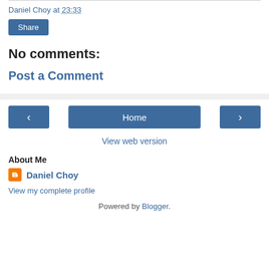Daniel Choy at 23:33
Share
No comments:
Post a Comment
< Home >
View web version
About Me
Daniel Choy
View my complete profile
Powered by Blogger.